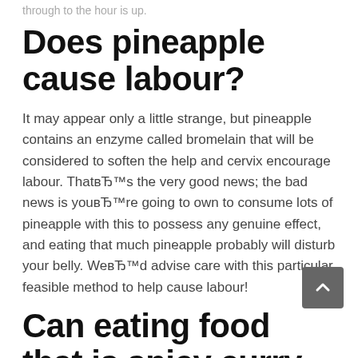through to the hour is up.
Does pineapple cause labour?
It may appear only a little strange, but pineapple contains an enzyme called bromelain that will be considered to soften the help and cervix encourage labour. ThatвЂ™s the very good news; the bad news is youвЂ™re going to own to consume lots of pineapple with this to possess any genuine effect, and eating that much pineapple probably will disturb your belly. WeвЂ™d advise care with this particular feasible method to help cause labour!
Can eating food that is spicy curry